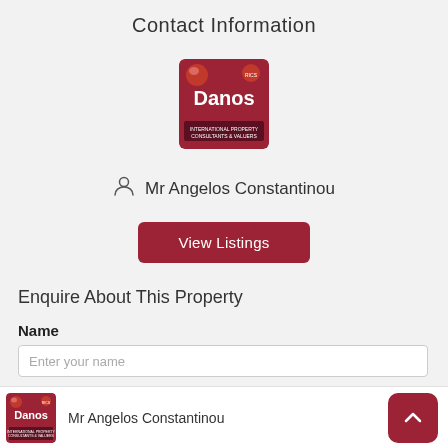Contact Information
[Figure (logo): Danos International Property Consultants & Valuers logo — dark red square with white text and RICS badge]
Mr Angelos Constantinou
View Listings
Enquire About This Property
Name
Enter your name
Mr Angelos Constantinou